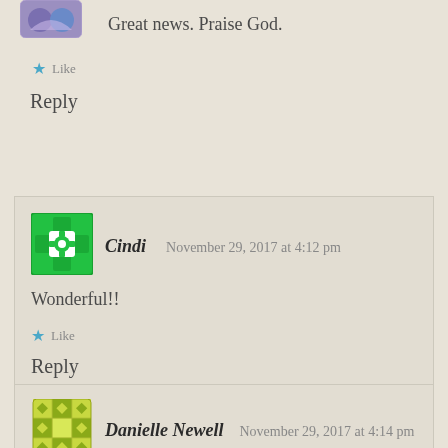[Figure (illustration): Partial avatar icon at top left, purple/blue colored avatar graphic]
Great news. Praise God.
★ Like
Reply
[Figure (illustration): Green square avatar icon with decorative cross/flower pattern for user Cindi]
Cindi  November 29, 2017 at 4:12 pm
Wonderful!!
★ Like
Reply
[Figure (illustration): Yellow-green patterned avatar icon for user Danielle Newell]
Danielle Newell  November 29, 2017 at 4:14 pm